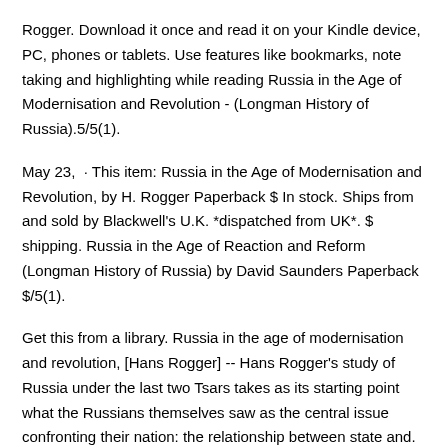Rogger. Download it once and read it on your Kindle device, PC, phones or tablets. Use features like bookmarks, note taking and highlighting while reading Russia in the Age of Modernisation and Revolution - (Longman History of Russia).5/5(1).
May 23,  · This item: Russia in the Age of Modernisation and Revolution, by H. Rogger Paperback $ In stock. Ships from and sold by Blackwell's U.K. *dispatched from UK*. $ shipping. Russia in the Age of Reaction and Reform (Longman History of Russia) by David Saunders Paperback $/5(1).
Get this from a library. Russia in the age of modernisation and revolution, [Hans Rogger] -- Hans Rogger's study of Russia under the last two Tsars takes as its starting point what the Russians themselves saw as the central issue confronting their nation: the relationship between state and.
Nov 07,  · Russia in the Age of Modernisation and Revolution - book. Read reviews from world's largest community for readers. Hans Rogger's study of Russi /5(12).